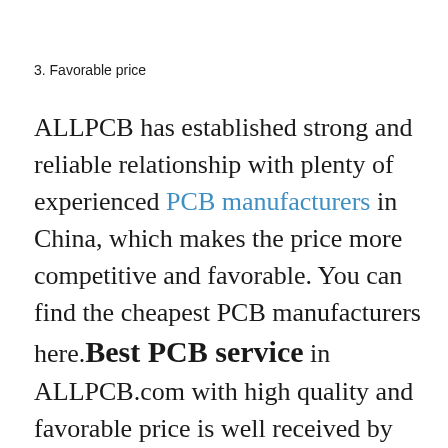3. Favorable price
ALLPCB has established strong and reliable relationship with plenty of experienced PCB manufacturers in China, which makes the price more competitive and favorable. You can find the cheapest PCB manufacturers here.Best PCB service in ALLPCB.com with high quality and favorable price is well received by every purchaser.